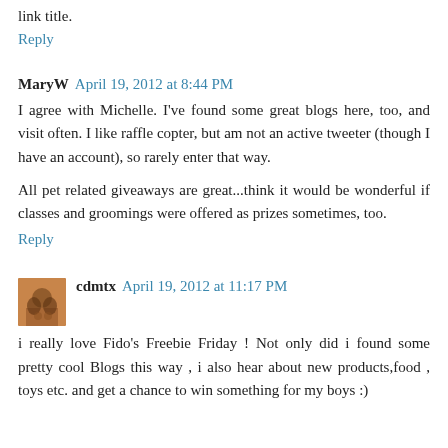link title.
Reply
MaryW  April 19, 2012 at 8:44 PM
I agree with Michelle. I've found some great blogs here, too, and visit often. I like raffle copter, but am not an active tweeter (though I have an account), so rarely enter that way.
All pet related giveaways are great...think it would be wonderful if classes and groomings were offered as prizes sometimes, too.
Reply
cdmtx  April 19, 2012 at 11:17 PM
i really love Fido's Freebie Friday ! Not only did i found some pretty cool Blogs this way , i also hear about new products,food , toys etc. and get a chance to win something for my boys :)